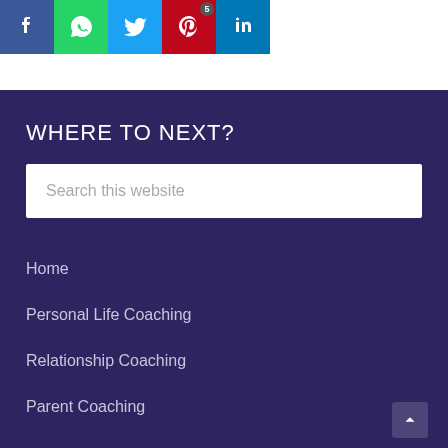[Figure (other): Social media share buttons: Facebook (blue), WhatsApp (green), Twitter (light blue), Pinterest (red with badge '5'), LinkedIn (dark blue)]
WHERE TO NEXT?
Search this website
Home
Personal Life Coaching
Relationship Coaching
Parent Coaching